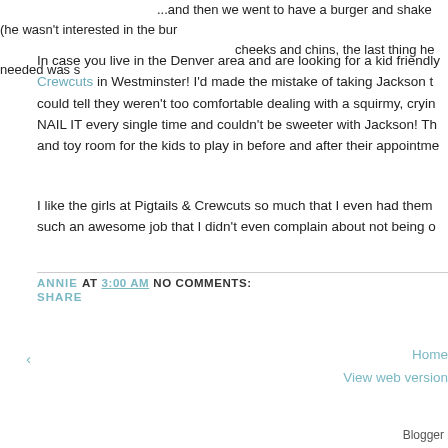...and then we went to have a burger and shake (he wasn't interested in the burger, cheeks and chins, the last thing he needed was s
In case you live in the Denver area and are looking for a kid friendly Crewcuts in Westminster! I'd made the mistake of taking Jackson t could tell they weren't too comfortable dealing with a squirmy, cryin NAIL IT every single time and couldn't be sweeter with Jackson! Th and toy room for the kids to play in before and after their appointme
I like the girls at Pigtails & Crewcuts so much that I even had them such an awesome job that I didn't even complain about not being o
ANNIE AT 3:00 AM   NO COMMENTS:
SHARE
‹
Home
View web version
Blogger